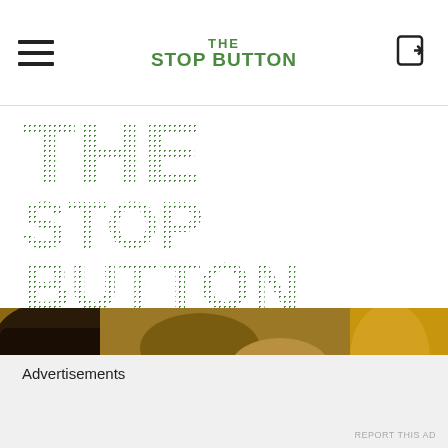THE STOP BUTTON
[Figure (logo): Large pixelated/dotted green THE STOP BUTTON logo on white background]
[Figure (photo): Horizontal photo strip showing cowboys or western scene with hats, earthy brown and gold tones]
[Figure (screenshot): Advertisement overlay box with white background and border, with close X button]
Advertisements